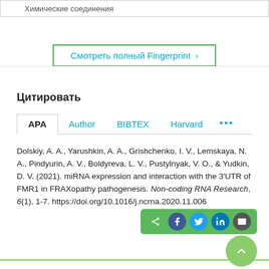Химические соединения
Смотреть полный Fingerprint ›
Цитировать
APA | Author | BIBTEX | Harvard ...
Dolskiy, A. A., Yarushkin, A. A., Grishchenko, I. V., Lemskaya, N. A., Pindyurin, A. V., Boldyreva, L. V., Pustylnyak, V. O., & Yudkin, D. V. (2021). miRNA expression and interaction with the 3'UTR of FMR1 in FRAXopathy pathogenesis. Non-coding RNA Research, 6(1), 1-7. https://doi.org/10.1016/j.ncrna.2020.11.006